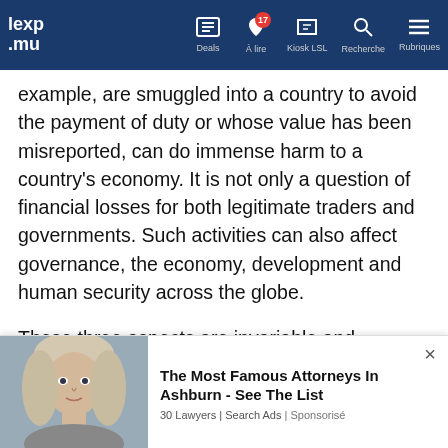lexp .mu | Deals | À lire (17) | Kiosk LSL | Recherche | Rubriques
example, are smuggled into a country to avoid the payment of duty or whose value has been misreported, can do immense harm to a country's economy. It is not only a question of financial losses for both legitimate traders and governments. Such activities can also affect governance, the economy, development and human security across the globe.
These three aspects are invariable and connected to the current Customs. Focus on trade facilitation implementing international vonventions that support the goals contained in the United Nations transforming our world.
[Figure (photo): Advertisement showing a blonde woman with text: The Most Famous Attorneys In Ashburn - See The List. 30 Lawyers | Search Ads | Sponsorisé]